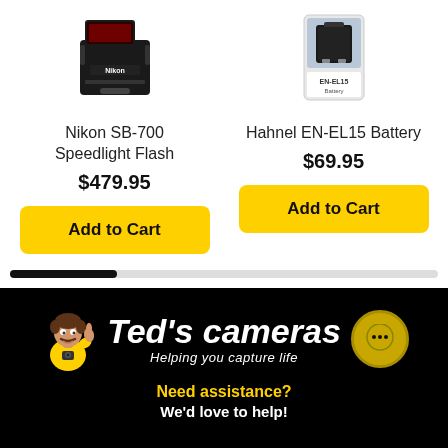[Figure (photo): Product image of Nikon SB-700 Speedlight Flash camera flash unit]
Nikon SB-700 Speedlight Flash
$479.95
Add to Cart
[Figure (photo): Product image of Hahnel EN-EL15 Battery in packaging]
Hahnel EN-EL15 Battery
$69.95
Add to Cart
[Figure (illustration): Ted's Cameras logo with mascot character giving thumbs up and slogan 'Helping you capture life', with chat bubble icon]
Need assistance?
We'd love to help!